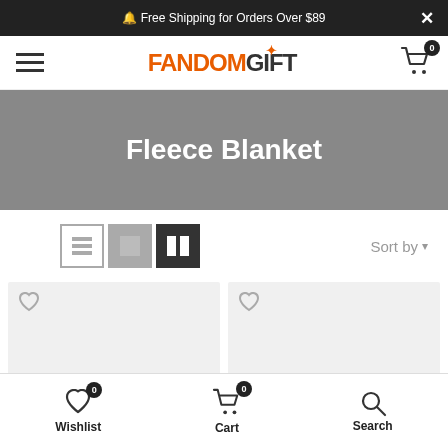🔔 Free Shipping for Orders Over $89
[Figure (logo): FandomGift logo with orange FANDOM text and dark GIFT text with a star icon]
Fleece Blanket
Sort by
[Figure (screenshot): Two product card placeholders in a 2-column grid layout with heart wishlist icons]
Wishlist  Cart  Search